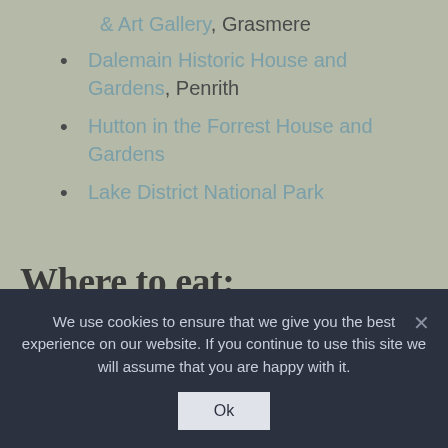& Art Gallery, Grasmere
Dalemain Historic House and Gardens, Penrith
Hutton in the Forrest House and Gardens
Lake District National Park
Where to eat:
We use cookies to ensure that we give you the best experience on our website. If you continue to use this site we will assume that you are happy with it.